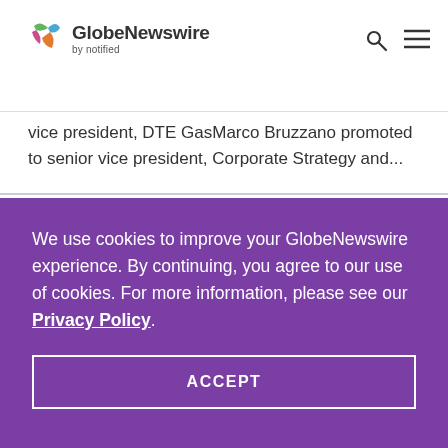GlobeNewswire by notified
vice president, DTE GasMarco Bruzzano promoted to senior vice president, Corporate Strategy and...
We use cookies to improve your GlobeNewswire experience. By continuing, you agree to our use of cookies. For more information, please see our Privacy Policy.
ACCEPT